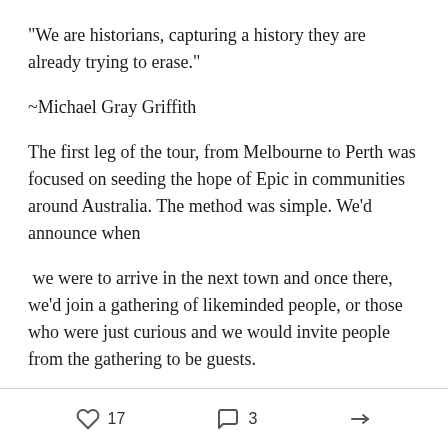"We are historians, capturing a history they are already trying to erase."
~Michael Gray Griffith
The first leg of the tour, from Melbourne to Perth was focused on seeding the hope of Epic in communities around Australia. The method was simple. We'd announce when
we were to arrive in the next town and once there, we'd join a gathering of likeminded people, or those who were just curious and we would invite people from the gathering to be guests.
17  3